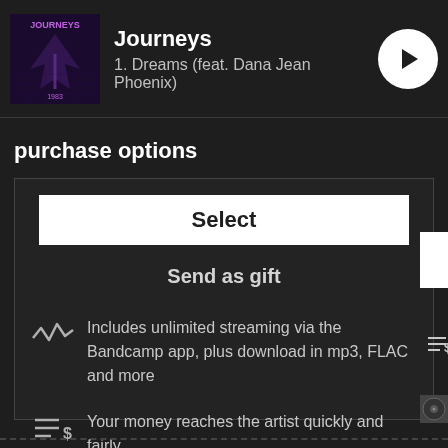Journeys
1. Dreams (feat. Dana Jean Phoenix)
purchase options
Select
Send as gift
Includes unlimited streaming via the Bandcamp app, plus download in mp3, FLAC and more
Your money reaches the artist quickly and fairly